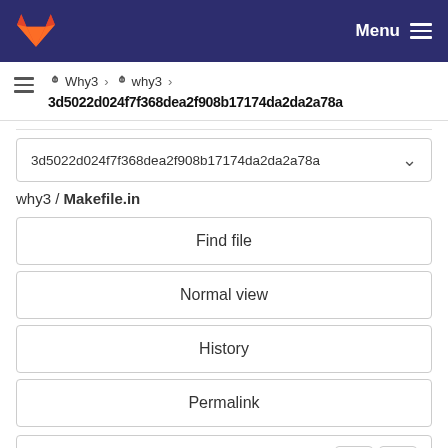Menu
Why3 › why3 › 3d5022d024f7f368dea2f908b17174da2da2a78a
3d5022d024f7f368dea2f908b17174da2da2a78a
why3 / Makefile.in
Find file
Normal view
History
Permalink
Makefile.in  21.5 KB
Newer  Older